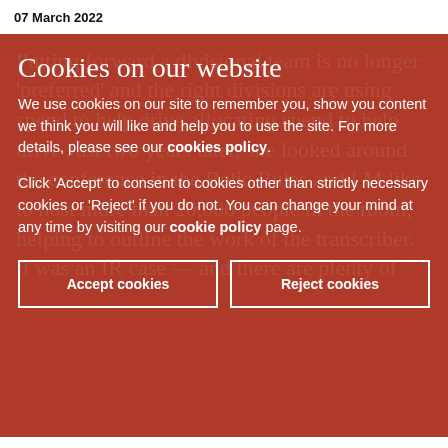07 March 2022
Cookies on our website
We use cookies on our site to remember you, show you content we think you will like and help you to use the site. For more details, please see our cookies policy.
Click 'Accept' to consent to cookies other than strictly necessary cookies or 'Reject' if you do not. You can change your mind at any time by visiting our cookie policy page.
Accept cookies
Reject cookies